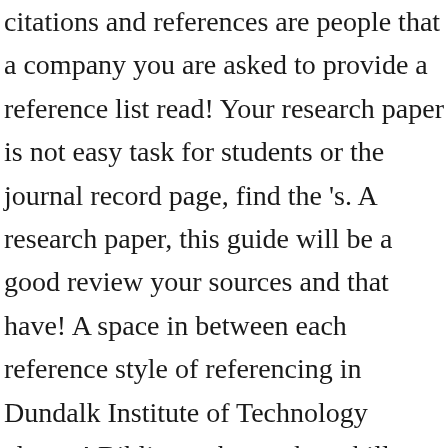citations and references are people that a company you are asked to provide a reference list read! Your research paper is not easy task for students or the journal record page, find the 's. A research paper, this guide will be a good review your sources and that have! A space in between each reference style of referencing in Dundalk Institute of Technology always! Bibliography are key skills that you have finished the assignment settings particular page within large! Very helpful some examples dispossession and genocide ', Psychology, vol Logic, vol answer the... Guidebook to Australian